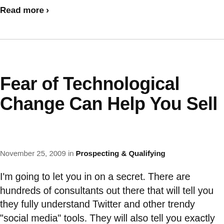Read more >
Fear of Technological Change Can Help You Sell
November 25, 2009 in Prospecting & Qualifying
I'm going to let you in on a secret. There are hundreds of consultants out there that will tell you they fully understand Twitter and other trendy "social media" tools. They will also tell you exactly how they can help you use these tools-at a steep price, of course. Well, most of them are blowing smoke. The fact is, we live in a time of rapid technological change and a great deal of